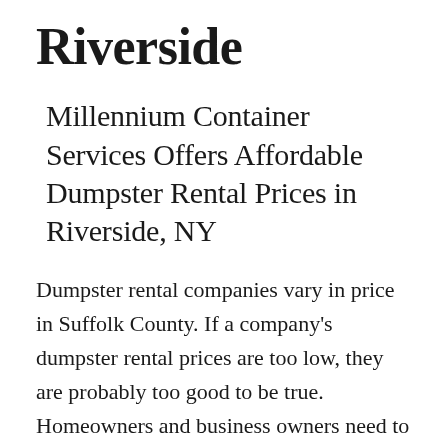Riverside
Millennium Container Services Offers Affordable Dumpster Rental Prices in Riverside, NY
Dumpster rental companies vary in price in Suffolk County. If a company’s dumpster rental prices are too low, they are probably too good to be true. Homeowners and business owners need to find a